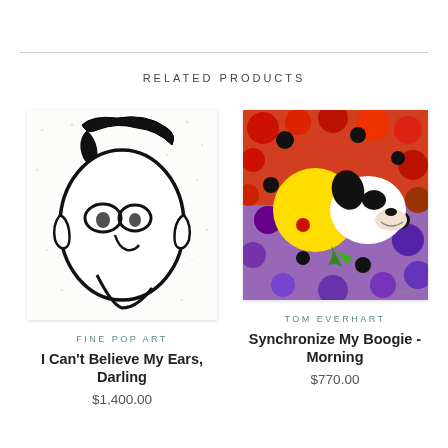RELATED PRODUCTS
[Figure (illustration): Black and white sketch artwork of a stylized cartoon character face with glasses and flowing lines]
FINE POP ART
I Can't Believe My Ears, Darling
$1,400.00
[Figure (illustration): Colorful artwork of Snoopy character surrounded by red, purple and black circular dots on a vibrant background with yellow sun]
TOM EVERHART
Synchronize My Boogie - Morning
$770.00